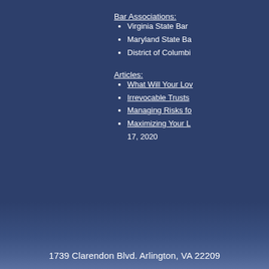Bar Associations:
Virginia State Bar
Maryland State Ba[r]
District of Columbi[a]
Articles:
What Will Your Lov[ed Ones...]
Irrevocable Trusts
Managing Risks fo[r...]
Maximizing Your L[...] 17, 2020
1739 Clarendon Blvd. Arlington, VA 2220[9]